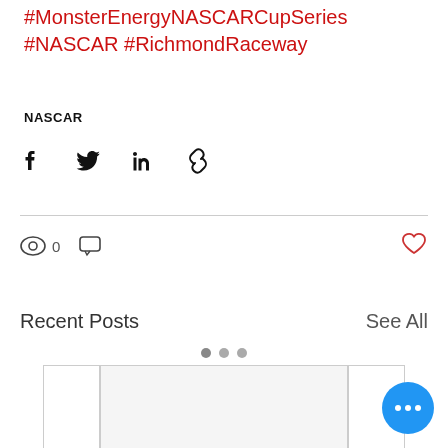#MonsterEnergyNASCARCupSeries #NASCAR #RichmondRaceway
NASCAR
[Figure (infographic): Social share icons: Facebook, Twitter, LinkedIn, Link/chain]
[Figure (infographic): Stats row: eye/views icon showing 0, comment bubble icon, heart/like icon (red outline)]
Recent Posts
See All
[Figure (screenshot): Carousel dots: one filled dark, two lighter]
[Figure (screenshot): Blog post card showing blank image area and title 'JGR Promotes James']
JGR Promotes James
[Figure (infographic): Blue circular FAB button with three white dots (more options)]